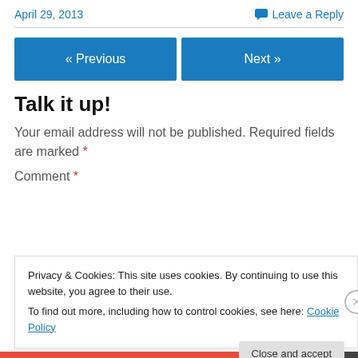April 29, 2013
Leave a Reply
« Previous
Next »
Talk it up!
Your email address will not be published. Required fields are marked *
Comment *
Privacy & Cookies: This site uses cookies. By continuing to use this website, you agree to their use.
To find out more, including how to control cookies, see here: Cookie Policy